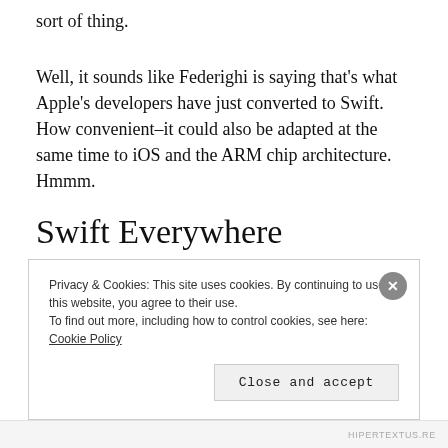sort of thing.
Well, it sounds like Federighi is saying that’s what Apple’s developers have just converted to Swift. How convenient–it could also be adapted at the same time to iOS and the ARM chip architecture. Hmmm.
Swift Everywhere
Privacy & Cookies: This site uses cookies. By continuing to use this website, you agree to their use.
To find out more, including how to control cookies, see here: Cookie Policy
HIPERTEXTUS.RE